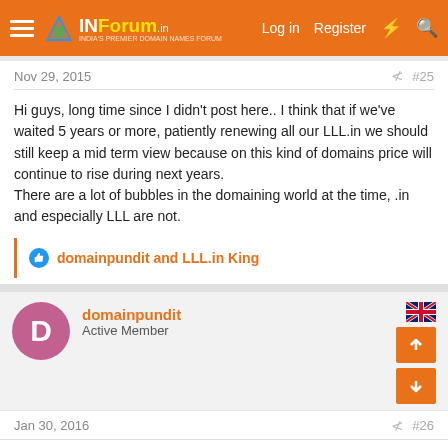INForum — Log in  Register
Nov 29, 2015  #25
Hi guys, long time since I didn't post here.. I think that if we've waited 5 years or more, patiently renewing all our LLL.in we should still keep a mid term view because on this kind of domains price will continue to rise during next years.
There are a lot of bubbles in the domaining world at the time, .in and especially LLL are not.
👍 domainpundit and LLL.in King
domainpundit
Active Member
Jan 30, 2016  #26